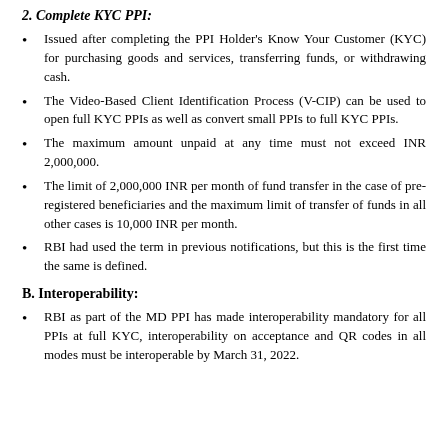2. Complete KYC PPI:
Issued after completing the PPI Holder's Know Your Customer (KYC) for purchasing goods and services, transferring funds, or withdrawing cash.
The Video-Based Client Identification Process (V-CIP) can be used to open full KYC PPIs as well as convert small PPIs to full KYC PPIs.
The maximum amount unpaid at any time must not exceed INR 2,000,000.
The limit of 2,000,000 INR per month of fund transfer in the case of pre-registered beneficiaries and the maximum limit of transfer of funds in all other cases is 10,000 INR per month.
RBI had used the term in previous notifications, but this is the first time the same is defined.
B. Interoperability:
RBI as part of the MD PPI has made interoperability mandatory for all PPIs at full KYC, interoperability on acceptance and QR codes in all modes must be interoperable by March 31, 2022.